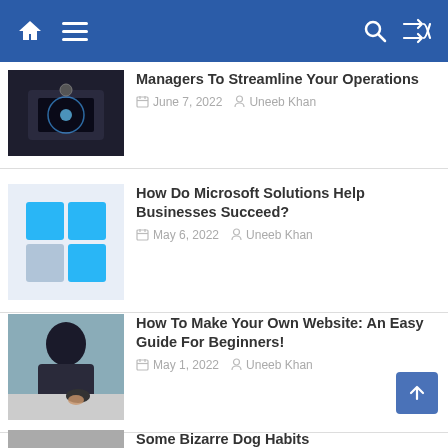Navigation bar with home, menu, search, and shuffle icons
Managers To Streamline Your Operations
June 7, 2022  Uneeb Khan
How Do Microsoft Solutions Help Businesses Succeed?
May 6, 2022  Uneeb Khan
How To Make Your Own Website: An Easy Guide For Beginners!
May 1, 2022  Uneeb Khan
Some Bizarre Dog Habits